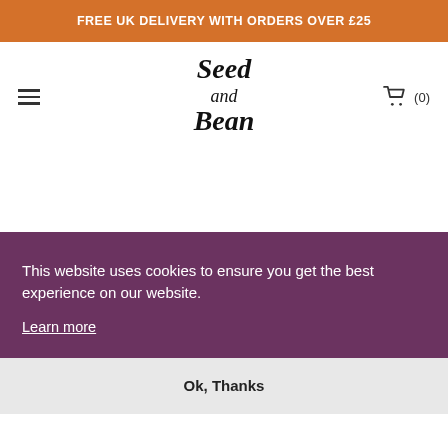FREE UK DELIVERY WITH ORDERS OVER £25
[Figure (logo): Seed and Bean logo in cursive script, black text on white background]
This website uses cookies to ensure you get the best experience on our website.
Learn more
Ok, Thanks